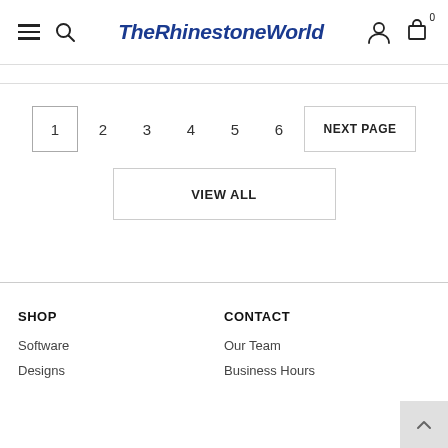TheRhinestoneWorld
1  2  3  4  5  6  NEXT PAGE
VIEW ALL
SHOP
Software
Designs
CONTACT
Our Team
Business Hours